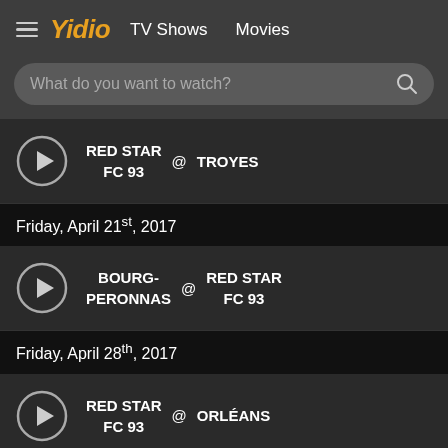Yidio  TV Shows  Movies
What do you want to watch?
RED STAR FC 93 @ TROYES
Friday, April 21st, 2017
BOURG-PERONNAS @ RED STAR FC 93
Friday, April 28th, 2017
RED STAR FC 93 @ ORLÉANS
Friday, May 5th, 2017